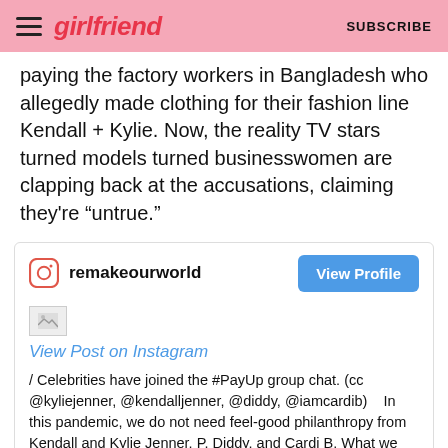girlfriend | SUBSCRIBE
paying the factory workers in Bangladesh who allegedly made clothing for their fashion line Kendall + Kylie. Now, the reality TV stars turned models turned businesswomen are clapping back at the accusations, claiming they're “untrue.”
[Figure (screenshot): Instagram embed from @remakeourworld with View Profile button, a broken image placeholder, a 'View Post on Instagram' link, and caption text about celebrities joining the #PayUp group chat and criticizing Kendall + Kylie and Global Brands Group for not paying garment suppliers.]